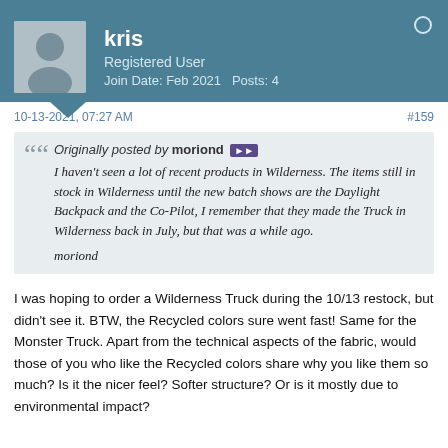kris | Registered User | Join Date: Feb 2021 | Posts: 4
10-13-2021, 07:27 AM  #159
Originally posted by moriond
I haven't seen a lot of recent products in Wilderness. The items still in stock in Wilderness until the new batch shows are the Daylight Backpack and the Co-Pilot, I remember that they made the Truck in Wilderness back in July, but that was a while ago.
moriond
I was hoping to order a Wilderness Truck during the 10/13 restock, but didn't see it. BTW, the Recycled colors sure went fast! Same for the Monster Truck. Apart from the technical aspects of the fabric, would those of you who like the Recycled colors share why you like them so much? Is it the nicer feel? Softer structure? Or is it mostly due to environmental impact?